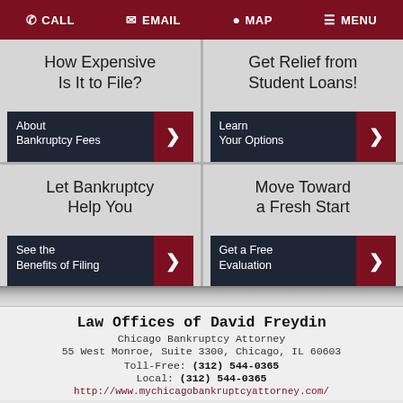CALL  EMAIL  MAP  MENU
[Figure (screenshot): Four navigation cards: 'How Expensive Is It to File?' with 'About Bankruptcy Fees' button; 'Get Relief from Student Loans!' with 'Learn Your Options' button; 'Let Bankruptcy Help You' with 'See the Benefits of Filing' button; 'Move Toward a Fresh Start' with 'Get a Free Evaluation' button]
Law Offices of David Freydin
Chicago Bankruptcy Attorney
55 West Monroe, Suite 3300, Chicago, IL 60603
Toll-Free: (312) 544-0365
Local: (312) 544-0365
http://www.mychicagobankruptcyattorney.com/